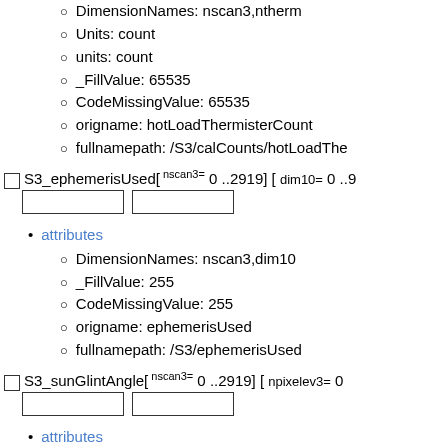DimensionNames: nscan3,ntherm
Units: count
units: count
_FillValue: 65535
CodeMissingValue: 65535
origname: hotLoadThermisterCount
fullnamepath: /S3/calCounts/hotLoadThe
S3_ephemerisUsed[ nscan3= 0 ..2919] [ dim10= 0 ..9
attributes
DimensionNames: nscan3,dim10
_FillValue: 255
CodeMissingValue: 255
origname: ephemerisUsed
fullnamepath: /S3/ephemerisUsed
S3_sunGlintAngle[ nscan3= 0 ..2919] [ npixelev3= 0
attributes
DimensionNames: nscan3,npixelev3
Units: degrees
units: degrees